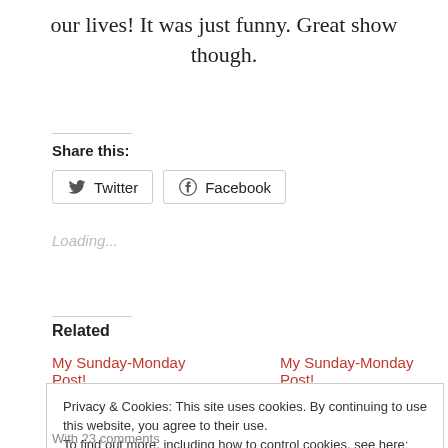our lives! It was just funny. Great show though.
Share this:
[Figure (other): Twitter and Facebook share buttons]
Loading...
Related
My Sunday-Monday Post!   My Sunday-Monday Post!
Privacy & Cookies: This site uses cookies. By continuing to use this website, you agree to their use. To find out more, including how to control cookies, see here: Cookie Policy
With 23 comments